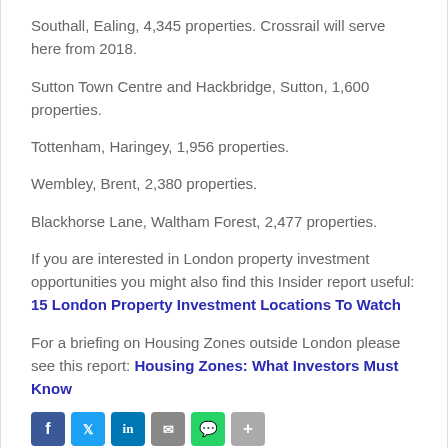Southall, Ealing, 4,345 properties. Crossrail will serve here from 2018.
Sutton Town Centre and Hackbridge, Sutton, 1,600 properties.
Tottenham, Haringey, 1,956 properties.
Wembley, Brent, 2,380 properties.
Blackhorse Lane, Waltham Forest, 2,477 properties.
If you are interested in London property investment opportunities you might also find this Insider report useful: 15 London Property Investment Locations To Watch
For a briefing on Housing Zones outside London please see this report: Housing Zones: What Investors Must Know
[Figure (other): Social sharing icons: Facebook, Twitter, LinkedIn, Email, WhatsApp, Share]